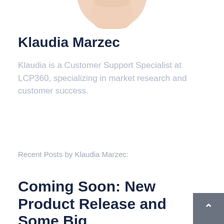[Figure (photo): Circular profile photo of Klaudia Marzec, partially cropped at top — blonde woman]
Klaudia Marzec
Klaudia is a Customer Support Specialist at LCP360, specializing in market research and customer success.
Recent Posts by Klaudia Marzec:
Coming Soon: New Product Release and Some Big